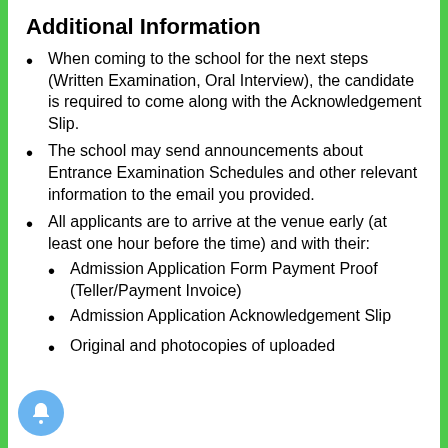Additional Information
When coming to the school for the next steps (Written Examination, Oral Interview), the candidate is required to come along with the Acknowledgement Slip.
The school may send announcements about Entrance Examination Schedules and other relevant information to the email you provided.
All applicants are to arrive at the venue early (at least one hour before the time) and with their:
Admission Application Form Payment Proof (Teller/Payment Invoice)
Admission Application Acknowledgement Slip
Original and photocopies of uploaded